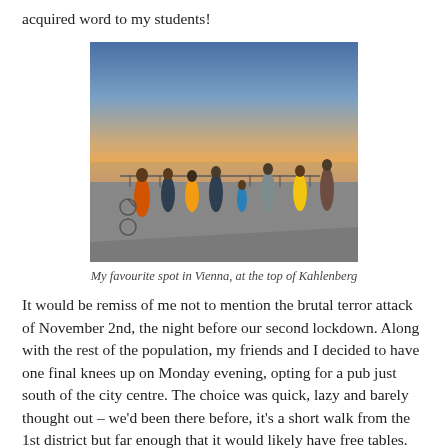acquired word to my students!
[Figure (photo): People silhouetted against a sunset sky at the top of Kahlenberg, Vienna. Several figures stand along a railing overlooking a hazy cityscape below. The sky transitions from warm orange near the horizon to cool blue above.]
My favourite spot in Vienna, at the top of Kahlenberg
It would be remiss of me not to mention the brutal terror attack of November 2nd, the night before our second lockdown. Along with the rest of the population, my friends and I decided to have one final knees up on Monday evening, opting for a pub just south of the city centre. The choice was quick, lazy and barely thought out – we'd been there before, it's a short walk from the 1st district but far enough that it would likely have free tables. As our final two friends arrived